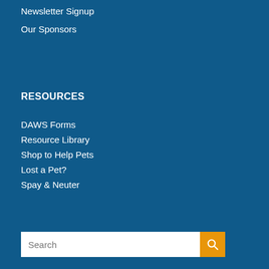Newsletter Signup
Our Sponsors
RESOURCES
DAWS Forms
Resource Library
Shop to Help Pets
Lost a Pet?
Spay & Neuter